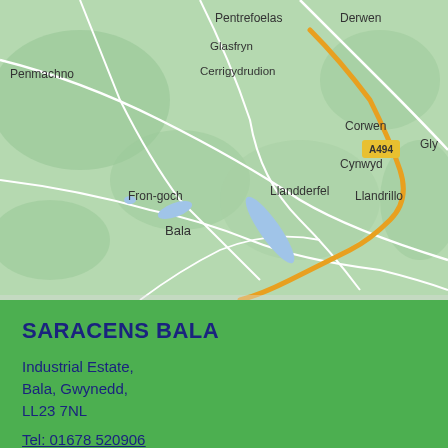[Figure (map): Google Maps style map showing the area around Bala, Wales, including towns: Penmachno, Pentrefoelas, Glasfryn, Cerrigydrudion, Derwen, Corwen, Gly(ndyfrdwy), Cynwyd, Fron-goch, Llandderfel, Llandrillo, Bala. Road A494 is shown as an orange route. Lake near Bala shown in blue.]
SARACENS BALA
Industrial Estate,
Bala, Gwynedd,
LL23 7NL
Tel: 01678 520906